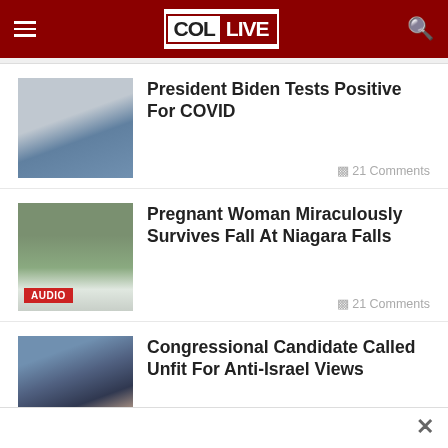COL LIVE
President Biden Tests Positive For COVID
21 Comments
Pregnant Woman Miraculously Survives Fall At Niagara Falls
21 Comments
Congressional Candidate Called Unfit For Anti-Israel Views
18 Comments